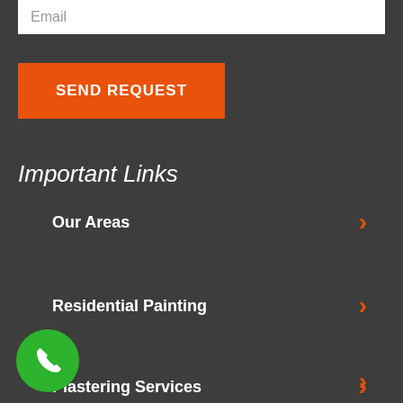Email
SEND REQUEST
Important Links
Our Areas
Residential Painting
Plastering Services